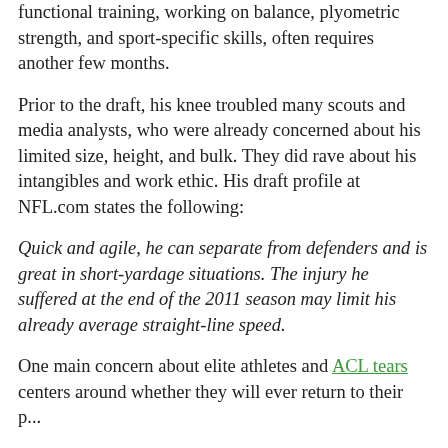functional training, working on balance, plyometric strength, and sport-specific skills, often requires another few months.
Prior to the draft, his knee troubled many scouts and media analysts, who were already concerned about his limited size, height, and bulk. They did rave about his intangibles and work ethic. His draft profile at NFL.com states the following:
Quick and agile, he can separate from defenders and is great in short-yardage situations. The injury he suffered at the end of the 2011 season may limit his already average straight-line speed.
One main concern about elite athletes and ACL tears centers around whether they will ever return to their p...